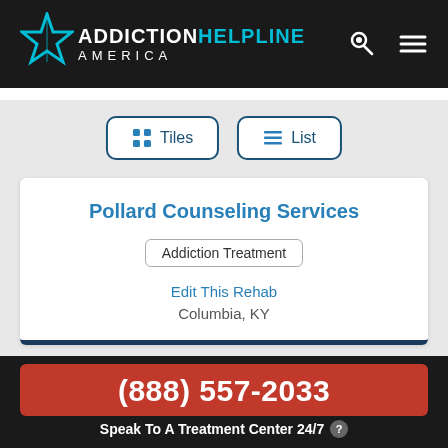[Figure (logo): Addiction Helpline America logo with teal star icon on dark background]
Tiles | List
Pollard Counseling Services
Addiction Treatment
Edit This Rehab
Columbia, KY
(888) 557-2033
Speak To A Treatment Center 24/7